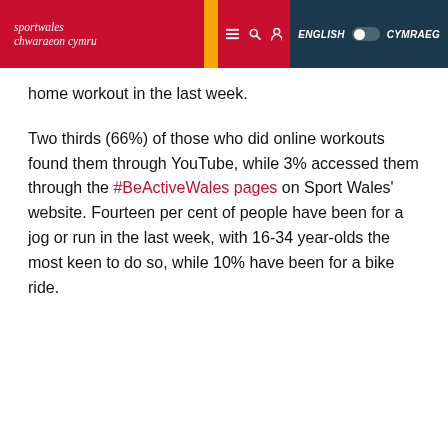Sport Wales / Chwaraeon Cymru — ENGLISH / CYMRAEG
home workout in the last week.
Two thirds (66%) of those who did online workouts found them through YouTube, while 3% accessed them through the #BeActiveWales pages on Sport Wales' website. Fourteen per cent of people have been for a jog or run in the last week, with 16-34 year-olds the most keen to do so, while 10% have been for a bike ride.